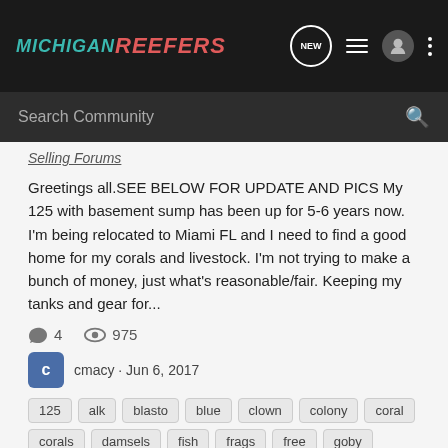MICHIGAN REEFERS
Search Community
Selling Forums
Greetings all.SEE BELOW FOR UPDATE AND PICS My 125 with basement sump has been up for 5-6 years now. I'm being relocated to Miami FL and I need to find a good home for my corals and livestock. I'm not trying to make a bunch of money, just what's reasonable/fair. Keeping my tanks and gear for...
4  975
cmacy · Jun 6, 2017
125 alk blasto blue clown colony coral corals damsels fish frags free goby live live stock livestock return sailfin selling sump system tank tanks watchman zoas